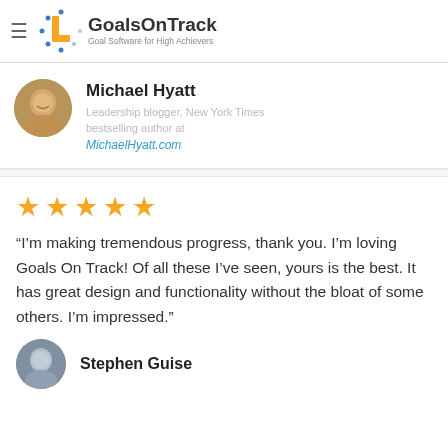GoalsOnTrack — Goal Software for High Achievers
[Figure (logo): GoalsOnTrack logo with orange L shape and blue dots, tagline: Goal Software for High Achievers]
Michael Hyatt
Leadership blogger, New York Times bestselling author at MichaelHyatt.com
[Figure (photo): Circular avatar photo of Michael Hyatt, smiling man]
[Figure (other): Five gold stars rating]
“I’m making tremendous progress, thank you. I’m loving Goals On Track! Of all these I’ve seen, yours is the best. It has great design and functionality without the bloat of some others. I’m impressed.”
Stephen Guise
[Figure (photo): Circular avatar photo of Stephen Guise]